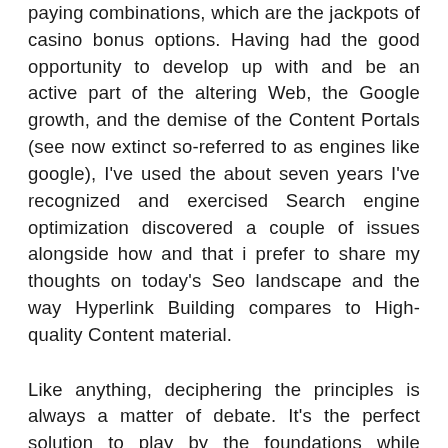paying combinations, which are the jackpots of casino bonus options. Having had the good opportunity to develop up with and be an active part of the altering Web, the Google growth, and the demise of the Content Portals (see now extinct so-referred to as engines like google), I've used the about seven years I've recognized and exercised Search engine optimization discovered a couple of issues alongside how and that i prefer to share my thoughts on today's Seo landscape and the way Hyperlink Building compares to High-quality Content material.
Like anything, deciphering the principles is always a matter of debate. It's the perfect solution to play by the foundations while minimizing your tax burden. No